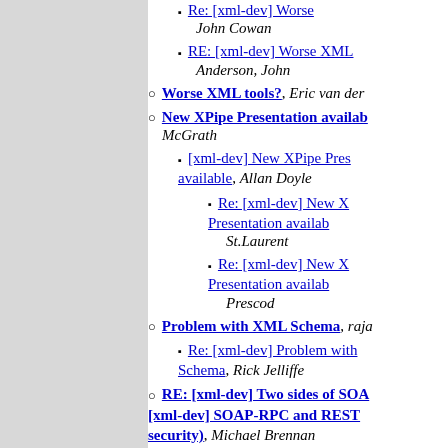Re: [xml-dev] Worse XML... John Cowan
RE: [xml-dev] Worse XML... Anderson, John
Worse XML tools?, Eric van der...
New XPipe Presentation availa... McGrath
[xml-dev] New XPipe Pres... available, Allan Doyle
Re: [xml-dev] New X... Presentation availab... St.Laurent
Re: [xml-dev] New X... Presentation availab... Prescod
Problem with XML Schema, raja...
Re: [xml-dev] Problem with... Schema, Rick Jelliffe
RE: [xml-dev] Two sides of SOA... [xml-dev] SOAP-RPC and REST... security), Michael Brennan
Architecture Description Marku... Michael Brennan
RDDL: minor update, jborden
Re: [xml-dev] RDDL: mino... Bray